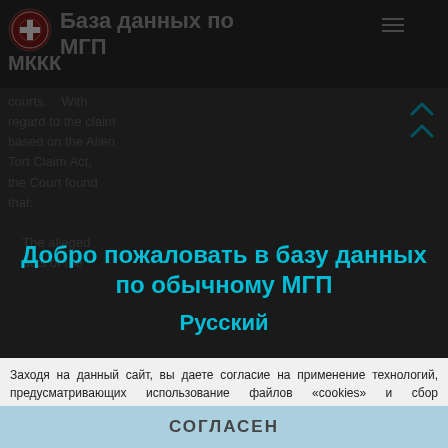База данных по МГП МККК
courts. With regard to the claim based on the Alien Tort Claim Act, the Court found that: The alleged acts of the
Добро пожаловать в базу данных по обычному МГП
Русский
Заходя на данный сайт, вы даете согласие на применение технологий, предусматривающих использование файлов «cookies» и сбор аналитических данных. Такие технологии позволяют настраивать содержание сайта, рекламные объявления и предоставлять функции социальных сетей. Они будут использоваться для анализа посещений сайта, что позволит нам понять предпочтения посетителей и улучшить предоставляемые услуги. Узнать больше
СОГЛАСЕН